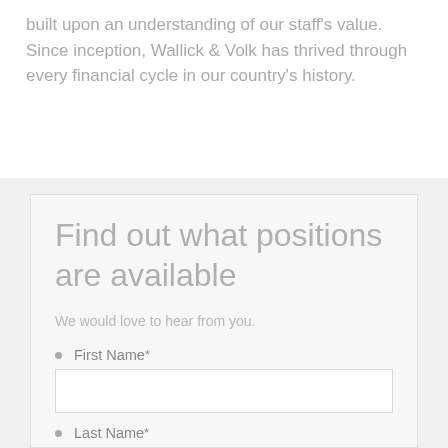built upon an understanding of our staff's value. Since inception, Wallick & Volk has thrived through every financial cycle in our country's history.
Find out what positions are available
We would love to hear from you.
First Name *
Last Name *